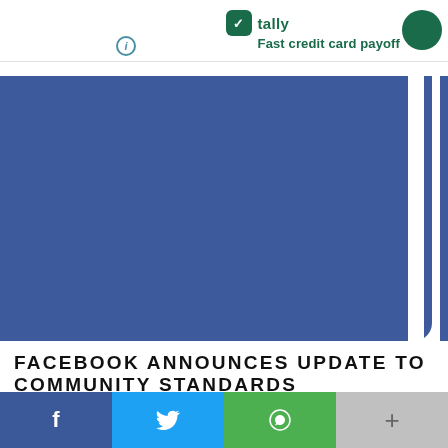tally Fast credit card payoff
[Figure (screenshot): Facebook logo/interface screenshot showing blue Facebook branding with navigation arrow]
FACEBOOK ANNOUNCES UPDATE TO COMMUNITY STANDARDS
MANASI VARMA × JUNE 20, 2021
The Oversight Board at Facebook has been giving the social media giant quite a few tips on making its platform more inclusive. And the latest recommendation tha...
f  Twitter  WhatsApp  +